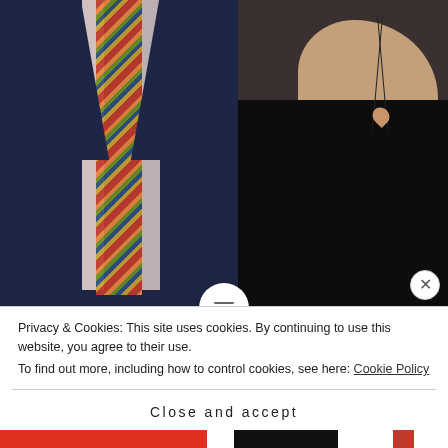[Figure (photo): Two people at a formal event: a man in a dark navy suit with a colorful patterned tie, and a woman in a black dress with a heart-shaped pendant necklace.]
Power Couples! Michael Whiteman and Rozanne Gold!
Monday, January 30th In 1976, the restaurant Windows on the World opened on the 106th and 107th floors of the World Trade Center...
Privacy & Cookies: This site uses cookies. By continuing to use this website, you agree to their use.
To find out more, including how to control cookies, see here: Cookie Policy
Close and accept